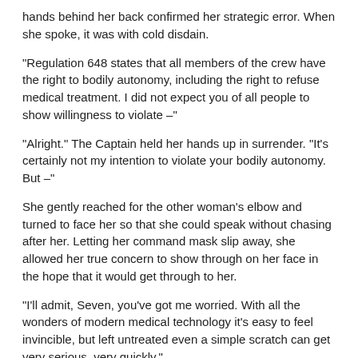hands behind her back confirmed her strategic error. When she spoke, it was with cold disdain.
"Regulation 648 states that all members of the crew have the right to bodily autonomy, including the right to refuse medical treatment. I did not expect you of all people to show willingness to violate –"
"Alright." The Captain held her hands up in surrender. "It's certainly not my intention to violate your bodily autonomy. But –"
She gently reached for the other woman's elbow and turned to face her so that she could speak without chasing after her. Letting her command mask slip away, she allowed her true concern to show through on her face in the hope that it would get through to her.
"I'll admit, Seven, you've got me worried. With all the wonders of modern medical technology it's easy to feel invincible, but left untreated even a simple scratch can get very serious, very quickly."
"I am aware," she said archly.
Now that they were standing still, she was subtly leaning her weight on her left leg.